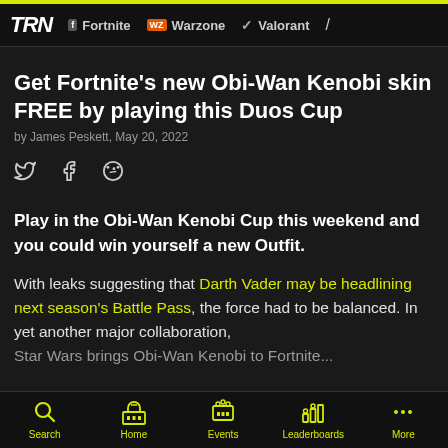TRN | Fortnite | WZ Warzone | V Valorant
Get Fortnite's new Obi-Wan Kenobi skin FREE by playing this Duos Cup
by James Peskett, May 20, 2022
Play in the Obi-Wan Kenobi Cup this weekend and you could win yourself a new Outfit.
With leaks suggesting that Darth Vader may be headlining next season's Battle Pass, the force had to be balanced. In yet another major collaboration, Star Wars brings Obi-Wan Kenobi to Fortnite...
Search | Home | Events | Leaderboards | More